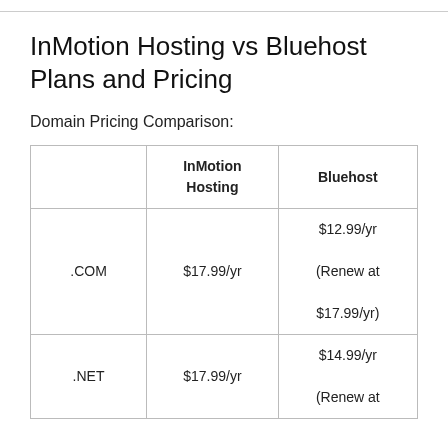InMotion Hosting vs Bluehost Plans and Pricing
Domain Pricing Comparison:
|  | InMotion Hosting | Bluehost |
| --- | --- | --- |
| .COM | $17.99/yr | $12.99/yr
(Renew at
$17.99/yr) |
| .NET | $17.99/yr | $14.99/yr
(Renew at |